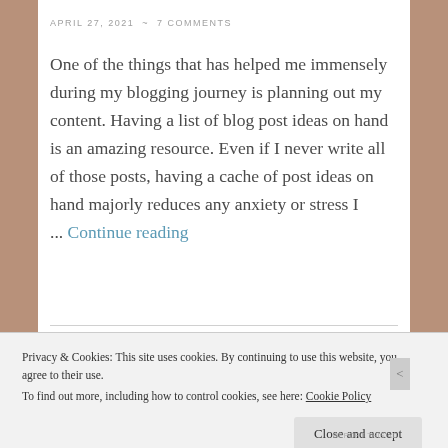APRIL 27, 2021  ~  7 COMMENTS
One of the things that has helped me immensely during my blogging journey is planning out my content. Having a list of blog post ideas on hand is an amazing resource. Even if I never write all of those posts, having a cache of post ideas on hand majorly reduces any anxiety or stress I ... Continue reading
Privacy & Cookies: This site uses cookies. By continuing to use this website, you agree to their use. To find out more, including how to control cookies, see here: Cookie Policy
Close and accept
REPORT THIS AD